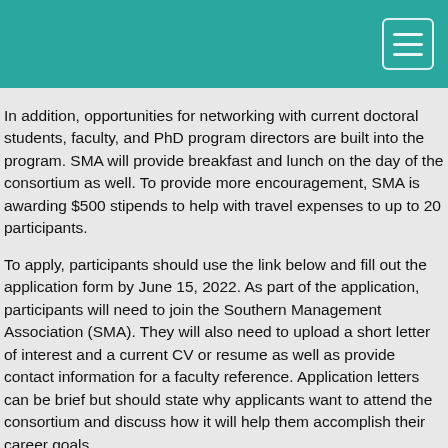In addition, opportunities for networking with current doctoral students, faculty, and PhD program directors are built into the program. SMA will provide breakfast and lunch on the day of the consortium as well. To provide more encouragement, SMA is awarding $500 stipends to help with travel expenses to up to 20 participants.
To apply, participants should use the link below and fill out the application form by June 15, 2022. As part of the application, participants will need to join the Southern Management Association (SMA). They will also need to upload a short letter of interest and a current CV or resume as well as provide contact information for a faculty reference. Application letters can be brief but should state why applicants want to attend the consortium and discuss how it will help them accomplish their career goals.
Please submit questions to Dr. Ben McLarty at Mississippi State University at bm2067@msstate.edu.